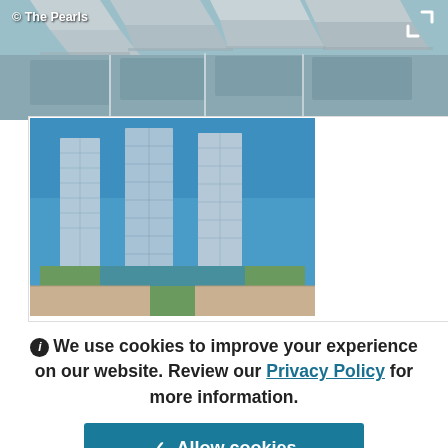[Figure (photo): Aerial view of The Pearls development with buildings and structured rooftops visible from above, showing roof sections and pathways]
© The Pearls
[Figure (photo): Ground-level photo of The Pearls residential towers — tall modern high-rise buildings with glass facades, surrounded by lower buildings and greenery, with a blue sky background]
We use cookies to improve your experience on our website. Review our Privacy Policy for more information.
✓ Allow cookies
| Official Name |  |
| --- | --- |
| Official Name | Please note that this height is estimated, based on a floor count of |